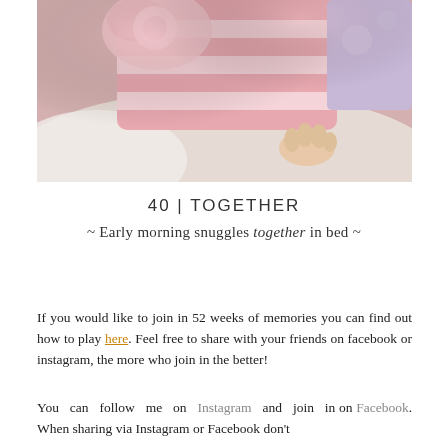[Figure (photo): A baby/toddler wearing pink striped clothing with a pink floral headband, lying on or near white/cream pillows. The child's hand is visible resting on a pillow.]
40 | TOGETHER
~ Early morning snuggles together in bed ~
If you would like to join in 52 weeks of memories you can find out how to play here. Feel free to share with your friends on facebook or instagram, the more who join in the better!
You can follow me on Instagram and join in on Facebook. When sharing via Instagram or Facebook don't